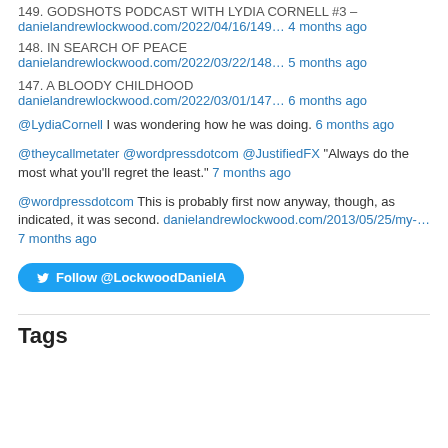149. GODSHOTS PODCAST WITH LYDIA CORNELL #3 – danielandrewlockwood.com/2022/04/16/149… 4 months ago
148. IN SEARCH OF PEACE danielandrewlockwood.com/2022/03/22/148… 5 months ago
147. A BLOODY CHILDHOOD danielandrewlockwood.com/2022/03/01/147… 6 months ago
@LydiaCornell I was wondering how he was doing. 6 months ago
@theycallmetater @wordpressdotcom @JustifiedFX "Always do the most what you'll regret the least." 7 months ago
@wordpressdotcom This is probably first now anyway, though, as indicated, it was second. danielandrewlockwood.com/2013/05/25/my-… 7 months ago
[Figure (other): Follow @LockwoodDanielA Twitter button]
Tags